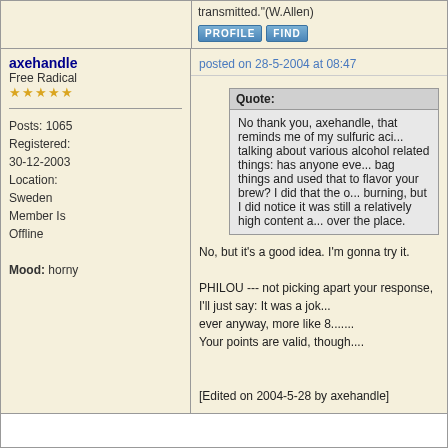transmitted."(W.Allen)
PROFILE   FIND
axehandle
Free Radical
★★★★★
Posts: 1065
Registered: 30-12-2003
Location: Sweden
Member Is Offline
Mood: horny
posted on 28-5-2004 at 08:47
Quote:
No thank you, axehandle, that reminds me of my sulfuric aci... talking about various alcohol related things: has anyone eve... bag things and used that to flavor your brew? I did that the o... burning, but I did notice it was still a relatively high content a... over the place.
No, but it's a good idea. I'm gonna try it.

PHILOU --- not picking apart your response, I'll just say: It was a jok...
ever anyway, more like 8.......
Your points are valid, though....

[Edited on 2004-5-28 by axehandle]